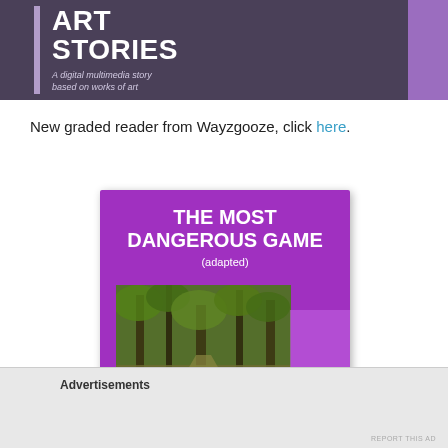[Figure (illustration): Book cover for 'Art Stories' - a digital multimedia story based on works of art. Dark purple/grey background with white bold text and a light purple accent stripe on the right.]
New graded reader from Wayzgooze, click here.
[Figure (illustration): Book cover for 'The Most Dangerous Game (adapted)' - purple background with white bold title text and a forest photo at the bottom.]
Advertisements
REPORT THIS AD